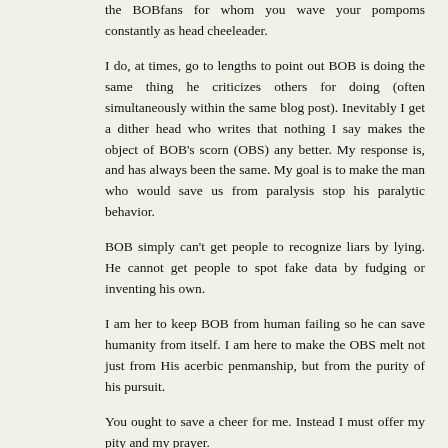the BOBfans for whom you wave your pompoms constantly as head cheeleader.
I do, at times, go to lengths to point out BOB is doing the same thing he criticizes others for doing (often simultaneously within the same blog post). Inevitably I get a dither head who writes that nothing I say makes the object of BOB's scorn (OBS) any better. My response is, and has always been the same. My goal is to make the man who would save us from paralysis stop his paralytic behavior.
BOB simply can't get people to recognize liars by lying. He cannot get people to spot fake data by fudging or inventing his own.
I am her to keep BOB from human failing so he can save humanity from itself. I am here to make the OBS melt not just from His acerbic penmanship, but from the purity of his pursuit.
You ought to save a cheer for me. Instead I must offer my pity and my prayer.